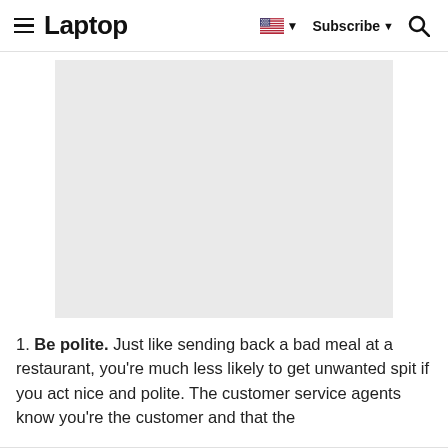≡ Laptop  Subscribe ▼ 🔍
[Figure (other): Gray placeholder/advertisement image rectangle]
1. Be polite. Just like sending back a bad meal at a restaurant, you're much less likely to get unwanted spit if you act nice and polite. The customer service agents know you're the customer and that the